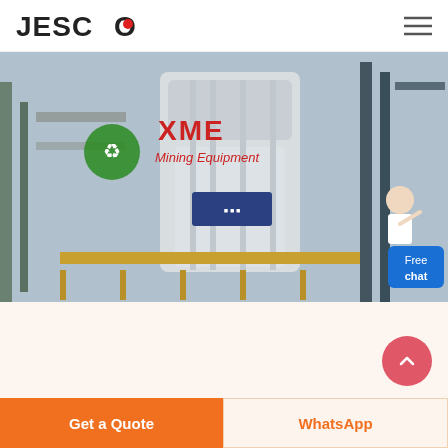JESCO
[Figure (photo): Industrial mining equipment / grinding mill machinery in a factory setting, with XME Mining Equipment logo overlay in red text and green icon, and a customer support figure with Free chat button in blue]
Cobalt Miners News For The Month Of May 2021 | Seeking Alpha
Get a Quote
WhatsApp